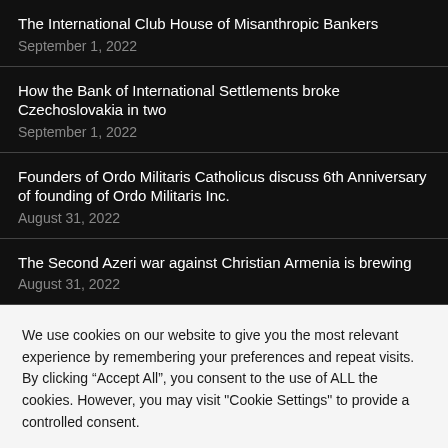The International Club House of Misanthropic Bankers
September 1, 2022
How the Bank of International Settlements broke Czechoslovakia in two
September 1, 2022
Founders of Ordo Militaris Catholicus discuss 6th Anniversary of founding of Ordo Militaris Inc.
August 31, 2022
The Second Azeri war against Christian Armenia is brewing
August 31, 2022
We use cookies on our website to give you the most relevant experience by remembering your preferences and repeat visits. By clicking “Accept All”, you consent to the use of ALL the cookies. However, you may visit "Cookie Settings" to provide a controlled consent.
Cookie Settings | Accept All